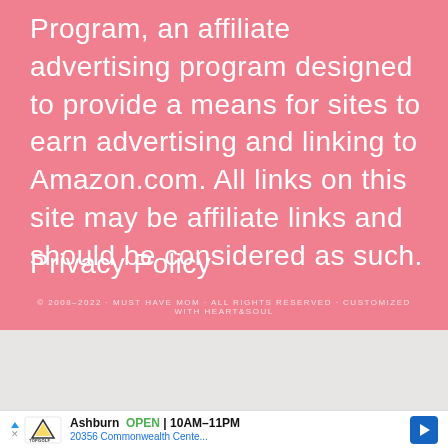Program, an affiliate advertising program designed to provide a means for sites to earn advertising and linking to Amazon.com. All links on this site may be affiliate links and should be considered as such.
Privacy Policy
© 2008–2022 · MUST HAVE MOM · ALL RIGHTS RESERVED · CUSTOMIZED WITH HEART&SOUL
AN ELITE CAFEMEDIA FAMILY & PARENTING PUBLISHER
[Figure (infographic): Advertisement banner for TopGolf Ashburn showing OPEN 10AM-11PM and address 20356 Commonwealth Cente... with a blue navigation arrow icon]